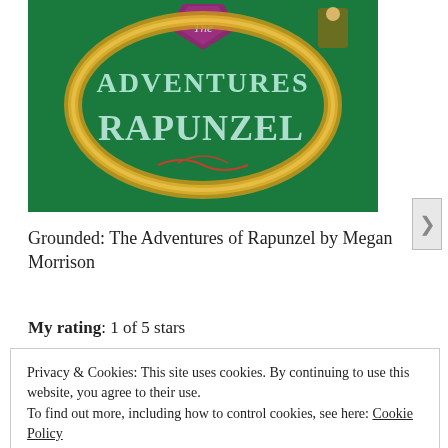[Figure (illustration): Book cover of 'Grounded: The Adventures of Rapunzel' by Megan Morrison. Green background with large decorative lettering spelling 'The Adventures Rapunzel' in mint/teal color, with golden braided rope/hair wrapping around. Small figure of a person visible in upper right corner. Purple/magenta diamond shape at top center.]
Grounded: The Adventures of Rapunzel by Megan Morrison
My rating: 1 of 5 stars
Privacy & Cookies: This site uses cookies. By continuing to use this website, you agree to their use.
To find out more, including how to control cookies, see here: Cookie Policy
Close and accept